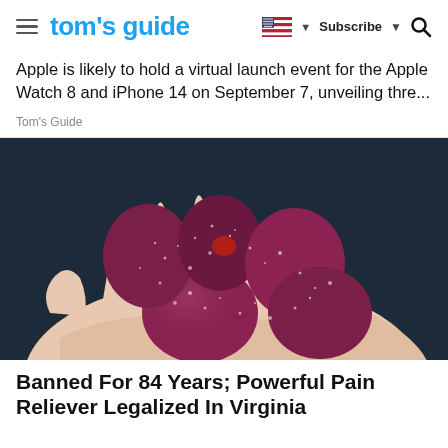tom's guide | Subscribe
Apple is likely to hold a virtual launch event for the Apple Watch 8 and iPhone 14 on September 7, unveiling thre...
Tom's Guide
[Figure (photo): A hand holding several red sugar-coated gummy candies against a dark background.]
Banned For 84 Years; Powerful Pain Reliever Legalized In Virginia